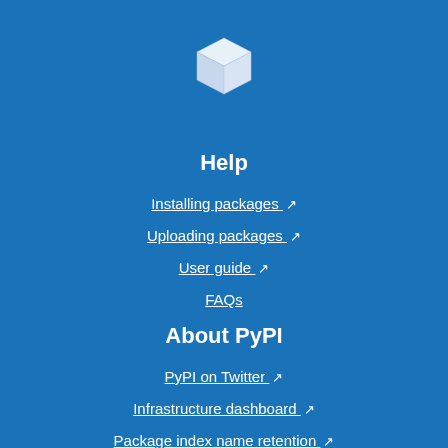[Figure (logo): White 3D cube/box icon representing PyPI logo]
Help
Installing packages ↗
Uploading packages ↗
User guide ↗
FAQs
About PyPI
PyPI on Twitter ↗
Infrastructure dashboard ↗
Package index name retention ↗
Our sponsors